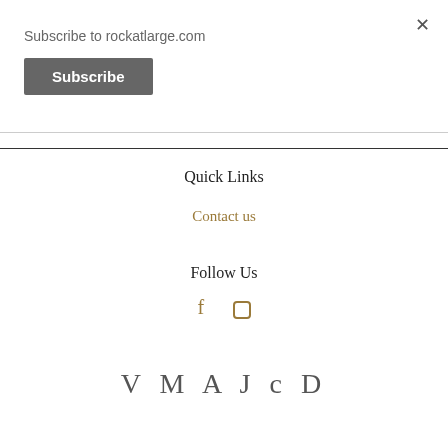Subscribe to rockatlarge.com
Subscribe
Quick Links
Contact us
Follow Us
[Figure (logo): Social media icons: Facebook (f) and Instagram (rectangle icon)]
[Figure (logo): V M A J c D logo text in serif font]